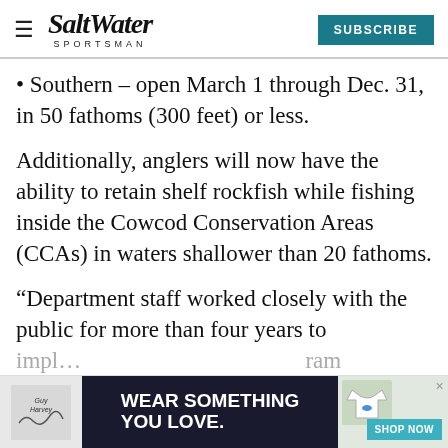Salt Water Sportsman | SUBSCRIBE
Southern – open March 1 through Dec. 31, in 50 fathoms (300 feet) or less.
Additionally, anglers will now have the ability to retain shelf rockfish while fishing inside the Cowcod Conservation Areas (CCAs) in waters shallower than 20 fathoms.
“Department staff worked closely with the public for more than four years to implement…
[Figure (advertisement): Guy Harvey branded ad: 'Wear Something You Love.' with Shop Now button and t-shirt image]